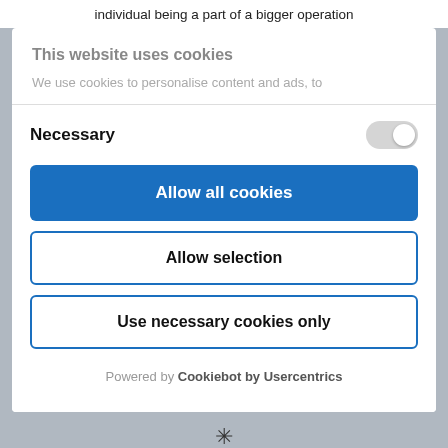individual being a part of a bigger operation
This website uses cookies
We use cookies to personalise content and ads, to
Necessary
Allow all cookies
Allow selection
Use necessary cookies only
Powered by Cookiebot by Usercentrics